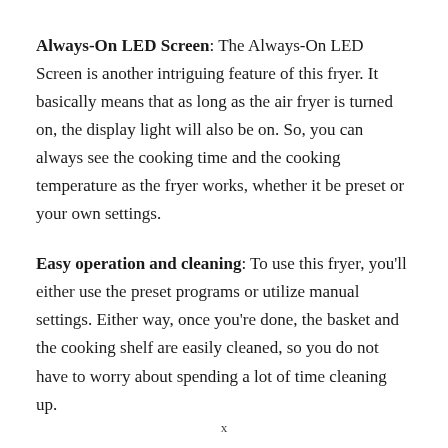Always-On LED Screen: The Always-On LED Screen is another intriguing feature of this fryer. It basically means that as long as the air fryer is turned on, the display light will also be on. So, you can always see the cooking time and the cooking temperature as the fryer works, whether it be preset or your own settings.
Easy operation and cleaning: To use this fryer, you'll either use the preset programs or utilize manual settings. Either way, once you're done, the basket and the cooking shelf are easily cleaned, so you do not have to worry about spending a lot of time cleaning up.
x